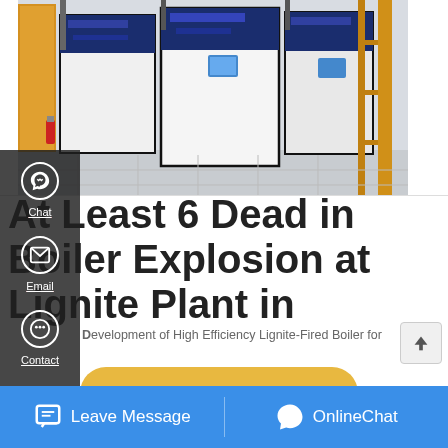[Figure (photo): Industrial boiler room with large blue and white boiler units, yellow door on left, yellow safety railing on right, tiled floor]
At Least 6 Dead in Boiler Explosion at Lignite Plant in
Development of High Efficiency Lignite-Fired Boiler for
Chat
Email
Contact
Get a Quote
Save Stickers on WhatsApp
Leave Message
OnlineChat